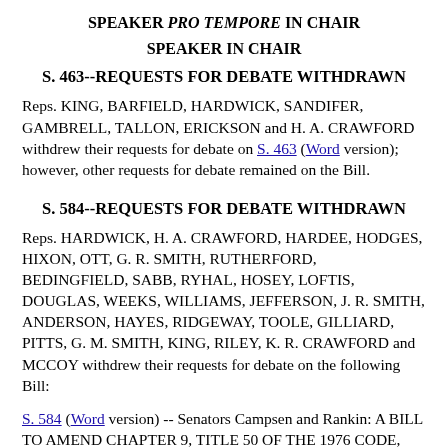SPEAKER PRO TEMPORE IN CHAIR
SPEAKER IN CHAIR
S. 463--REQUESTS FOR DEBATE WITHDRAWN
Reps. KING, BARFIELD, HARDWICK, SANDIFER, GAMBRELL, TALLON, ERICKSON and H. A. CRAWFORD withdrew their requests for debate on S. 463 (Word version); however, other requests for debate remained on the Bill.
S. 584--REQUESTS FOR DEBATE WITHDRAWN
Reps. HARDWICK, H. A. CRAWFORD, HARDEE, HODGES, HIXON, OTT, G. R. SMITH, RUTHERFORD, BEDINGFIELD, SABB, RYHAL, HOSEY, LOFTIS, DOUGLAS, WEEKS, WILLIAMS, JEFFERSON, J. R. SMITH, ANDERSON, HAYES, RIDGEWAY, TOOLE, GILLIARD, PITTS, G. M. SMITH, KING, RILEY, K. R. CRAWFORD and MCCOY withdrew their requests for debate on the following Bill:
S. 584 (Word version) -- Senators Campsen and Rankin: A BILL TO AMEND CHAPTER 9, TITLE 50 OF THE 1976 CODE, RELATING TO HUNTING AND FISHING LICENSES, BY ADDING SECTION 50-9-15, TO DEFINE "LICENSE SALES VENDOR" AND "LICENSE YEAR"; TO AMEND SECTION 50